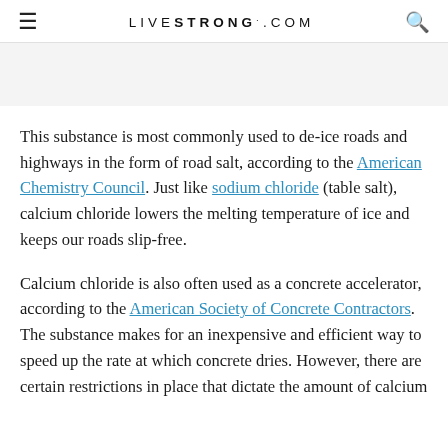LIVESTRONG.COM
This substance is most commonly used to de-ice roads and highways in the form of road salt, according to the American Chemistry Council. Just like sodium chloride (table salt), calcium chloride lowers the melting temperature of ice and keeps our roads slip-free.
Calcium chloride is also often used as a concrete accelerator, according to the American Society of Concrete Contractors. The substance makes for an inexpensive and efficient way to speed up the rate at which concrete dries. However, there are certain restrictions in place that dictate the amount of calcium